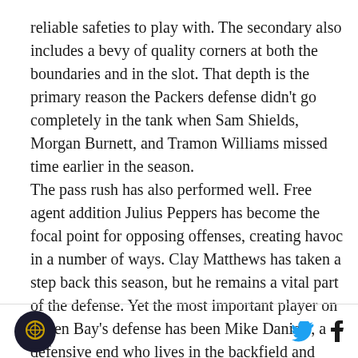reliable safeties to play with. The secondary also includes a bevy of quality corners at both the boundaries and in the slot. That depth is the primary reason the Packers defense didn't go completely in the tank when Sam Shields, Morgan Burnett, and Tramon Williams missed time earlier in the season.

The pass rush has also performed well. Free agent addition Julius Peppers has become the focal point for opposing offenses, creating havoc in a number of ways. Clay Matthews has taken a step back this season, but he remains a vital part of the defense. Yet the most important player on Green Bay's defense has been Mike Daniels, a defensive end who lives in the backfield and disrupts protections on nearly every play.
logo | twitter | facebook